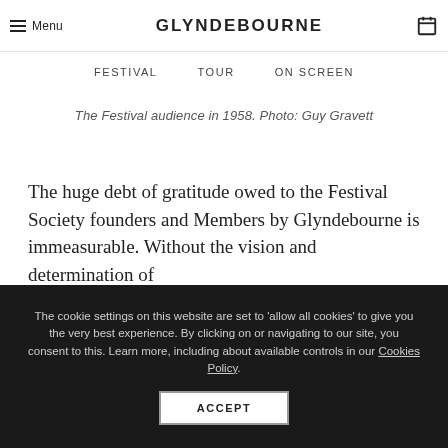Menu  GLYNDEBOURNE  [calendar icon]
FESTIVAL   TOUR   ON SCREEN
The Festival audience in 1958. Photo: Guy Gravett
The huge debt of gratitude owed to the Festival Society founders and Members by Glyndebourne is immeasurable. Without the vision and determination of
The cookie settings on this website are set to 'allow all cookies' to give you the very best experience. By clicking on or navigating to our site, you consent to this. Learn more, including about available controls in our Cookies Policy.
ACCEPT